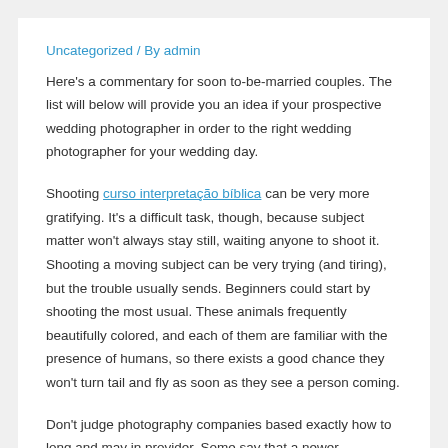Uncategorized / By admin
Here's a commentary for soon to-be-married couples. The list will below will provide you an idea if your prospective wedding photographer in order to the right wedding photographer for your wedding day.
Shooting curso interpretação bíblica can be very more gratifying. It's a difficult task, though, because subject matter won't always stay still, waiting anyone to shoot it. Shooting a moving subject can be very trying (and tiring), but the trouble usually sends. Beginners could start by shooting the most usual. These animals frequently beautifully colored, and each of them are familiar with the presence of humans, so there exists a good chance they won't turn tail and fly as soon as they see a person coming.
Don't judge photography companies based exactly how to long and may in provider. Some say that a newer photographer doesn't